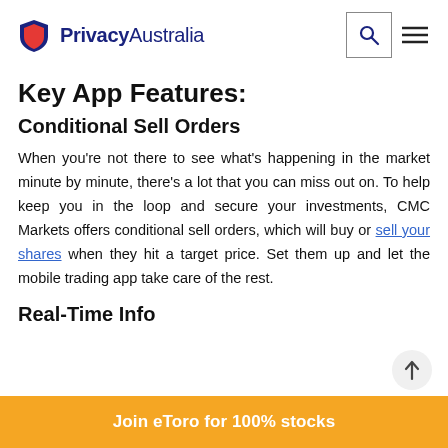PrivacyAustralia
Key App Features:
Conditional Sell Orders
When you're not there to see what's happening in the market minute by minute, there's a lot that you can miss out on. To help keep you in the loop and secure your investments, CMC Markets offers conditional sell orders, which will buy or sell your shares when they hit a target price. Set them up and let the mobile trading app take care of the rest.
Real-Time Info
Join eToro for 100% stocks